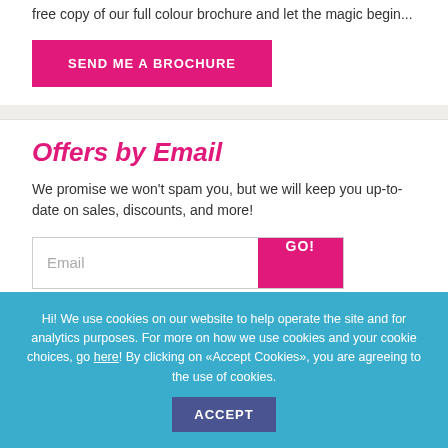free copy of our full colour brochure and let the magic begin...
SEND ME A BROCHURE
Offers by Email
We promise we won't spam you, but we will keep you up-to-date on sales, discounts, and more!
Email  GO!
Hi! We use cookies on our website to help operate the site and for analytics purposes. For more on how we use cookies and your cookie choices, go here! By clicking on «Accept Cookies», you are agreeing to the use of cookies.  ACCEPT